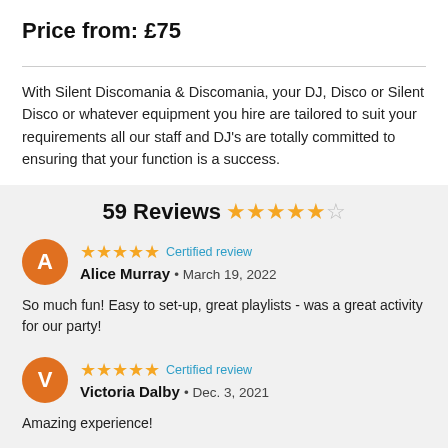Price from: £75
With Silent Discomania & Discomania, your DJ, Disco or Silent Disco or whatever equipment you hire are tailored to suit your requirements all our staff and DJ's are totally committed to ensuring that your function is a success.
59 Reviews ★★★★☆
A Alice Murray • March 19, 2022 ★★★★★ Certified review
So much fun! Easy to set-up, great playlists - was a great activity for our party!
V Victoria Dalby • Dec. 3, 2021 ★★★★★ Certified review
Amazing experience!